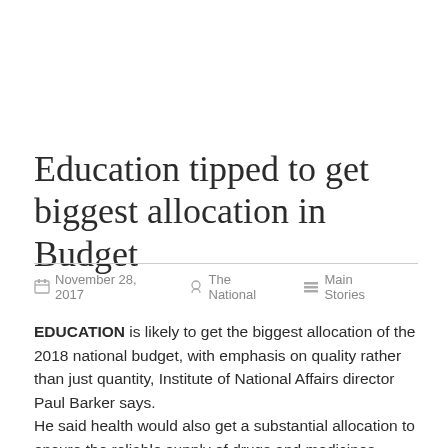Education tipped to get biggest allocation in Budget
November 28, 2017   The National   Main Stories
EDUCATION is likely to get the biggest allocation of the 2018 national budget, with emphasis on quality rather than just quantity, Institute of National Affairs director Paul Barker says. He said health would also get a substantial allocation to ensure the reliable supply of drugs and medicines. He said the Government would try to shore up maintenance and transport restoration, including the Highlands Highway (with Asian Development Bank funding). Barker said the State may try to secure funding from the World